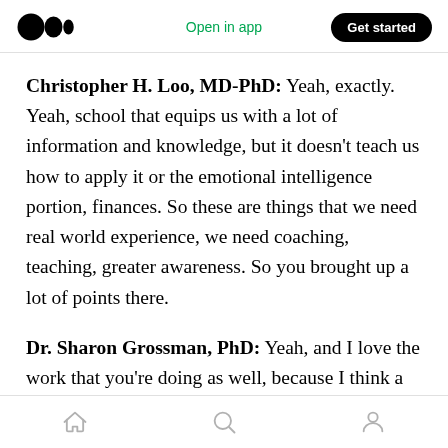Medium app header — logo, Open in app, Get started
Christopher H. Loo, MD-PhD: Yeah, exactly. Yeah, school that equips us with a lot of information and knowledge, but it doesn't teach us how to apply it or the emotional intelligence portion, finances. So these are things that we need real world experience, we need coaching, teaching, greater awareness. So you brought up a lot of points there.
Dr. Sharon Grossman, PhD: Yeah, and I love the work that you're doing as well, because I think a lot of physicians have financial stress because of
Bottom navigation bar — Home, Search, Profile